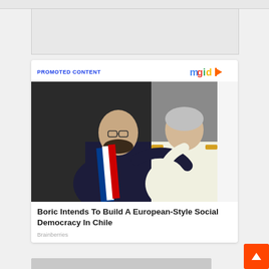[Figure (screenshot): Top banner gray bar]
[Figure (screenshot): Advertisement placeholder box]
PROMOTED CONTENT
[Figure (logo): mgid logo with colorful letters and orange play button]
[Figure (photo): Two men embracing, one younger with glasses and Chilean presidential sash (blue, white, red), one older with gray hair, at what appears to be an inauguration ceremony]
Boric Intends To Build A European-Style Social Democracy In Chile
Brainberries
[Figure (screenshot): Bottom of page showing another article image peeking]